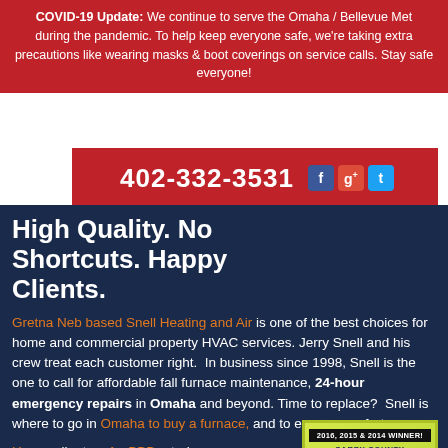COVID-19 Update: We continue to serve the Omaha / Bellevue Metro during the pandemic. To help keep everyone safe, we're taking extra precautions like wearing masks & boot coverings on service calls. Stay safe everyone!
[Figure (infographic): Red banner with phone number 402-332-3531 and social media icons for Facebook, Google+, and Twitter]
High Quality. No Shortcuts. Happy Clients.
[Figure (illustration): Sarpy County People's Choice Awards badge - 2016, 2015 & 2014 Winner in Heating/Air Conditioning category, green starburst design]
Gretna Neb based Snell Heating and Air is one of the best choices for home and commercial property HVAC services. Jerry Snell and his crew treat each customer right. In business since 1998, Snell is the one to call for affordable fall furnace maintenance, 24-hour emergency repairs in Omaha and beyond. Time to replace? Snell is where to go in Omaha to buy a furnace, and to ensure comfort.
Happy clients + A+ BBB rated.